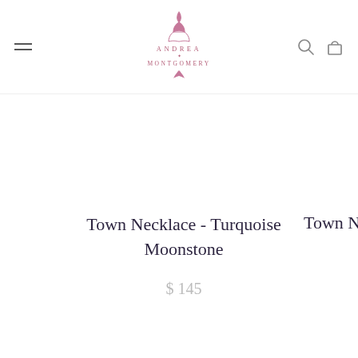Andrea Montgomery — navigation header with logo, hamburger menu, search, and cart icons
Town Necklace - Turquoise Moonstone
$ 145
Town N...
[Figure (logo): Andrea Montgomery decorative monogram logo in pink/rose, repeated at bottom of page]
[Figure (other): Hot pink wishlist heart button in bottom right corner]